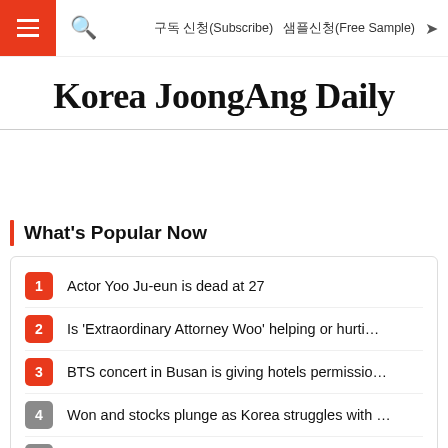구독 신청(Subscribe)  샘플신청(Free Sample)
Korea JoongAng Daily
What's Popular Now
1 Actor Yoo Ju-eun is dead at 27
2 Is 'Extraordinary Attorney Woo' helping or hurti…
3 BTS concert in Busan is giving hotels permissio…
4 Won and stocks plunge as Korea struggles with …
5 [CELEB] Actor Kwon Yu-ri is juggling her roles o…
6 Hollywood film 'K-Pop: Lost in America' to go in…
7 Several K-pop acts take home prizes from 2022…